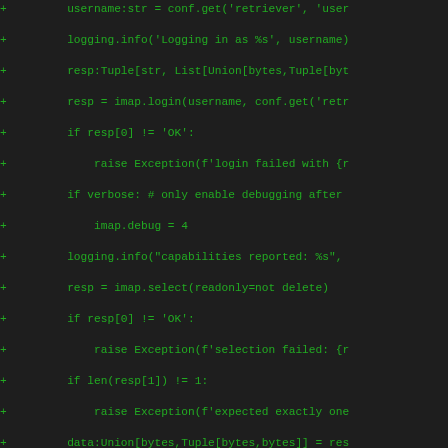[Figure (screenshot): A code diff view showing Python code additions (lines prefixed with '+') displayed in green monospace font on a dark background. The code shows IMAP email retrieval functions including login, select, fetch operations with type annotations.]